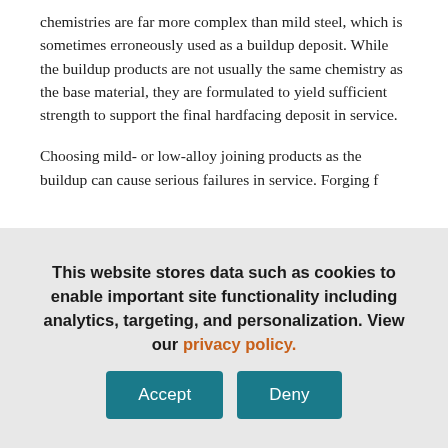chemistries are far more complex than mild steel, which is sometimes erroneously used as a buildup deposit. While the buildup products are not usually the same chemistry as the base material, they are formulated to yield sufficient strength to support the final hardfacing deposit in service.
Choosing mild- or low-alloy joining products as the buildup can cause serious failures in service. Forging f...
This website stores data such as cookies to enable important site functionality including analytics, targeting, and personalization. View our privacy policy.